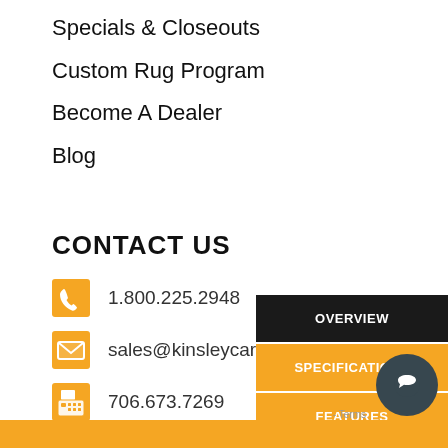Specials & Closeouts
Custom Rug Program
Become A Dealer
Blog
CONTACT US
1.800.225.2948
sales@kinsleycarpets.com
706.673.7269
[Figure (other): Social media icons: Facebook, Twitter, and another icon]
OVERVIEW
SPECIFICATIONS
FEATURES
RELATED PRODUCTS
WARRANTY